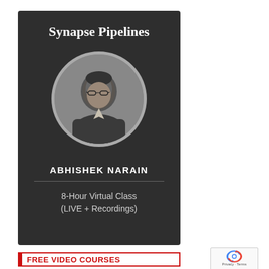[Figure (illustration): Dark-background course card for 'Synapse Pipelines' by Abhishek Narain. Card shows title text, a circular black-and-white photo of the instructor, the instructor's name in bold, a horizontal divider, and text reading '8-Hour Virtual Class (LIVE + Recordings)']
Synapse Pipelines
ABHISHEK NARAIN
8-Hour Virtual Class
(LIVE + Recordings)
FREE VIDEO COURSES
[Figure (logo): reCAPTCHA logo with circular arrow icon and text 'Privacy - Terms']